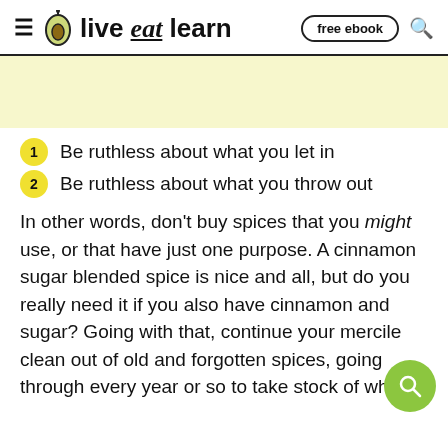live eat learn — free ebook
[Figure (photo): Yellow/light background image placeholder area]
1 Be ruthless about what you let in
2 Be ruthless about what you throw out
In other words, don't buy spices that you might use, or that have just one purpose. A cinnamon sugar blended spice is nice and all, but do you really need it if you also have cinnamon and sugar? Going with that, continue your mercile clean out of old and forgotten spices, going through every year or so to take stock of what